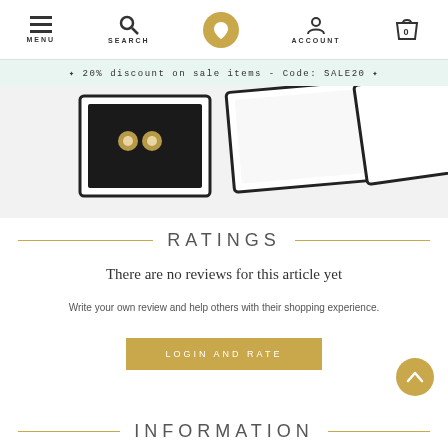MENU | SEARCH | ACCOUNT | 0
✦ 20% discount on sale items - Code: SALE20 ✦
[Figure (photo): Product jewelry boxes with earrings, partially visible from top]
RATINGS
There are no reviews for this article yet
Write your own review and help others with their shopping experience.
LOGIN AND RATE
INFORMATION